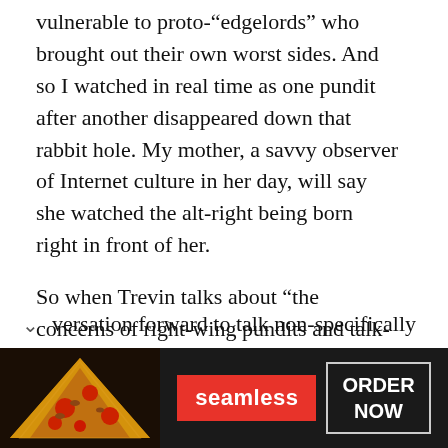vulnerable to proto-“edgelords” who brought out their own worst sides. And so I watched in real time as one pundit after another disappeared down that rabbit hole. My mother, a savvy observer of Internet culture in her day, will say she watched the alt-right being born right in front of her.
So when Trevin talks about “the concerns of right-wing pundits and talk-show hosts,” I understand the fear. And yet, with all that said, I still question whether it moves the conversation forward to talk non-specifically
[Figure (other): Advertisement banner for Seamless food delivery service showing pizza image on left, red Seamless logo button in center, and ORDER NOW button on right, on dark background.]